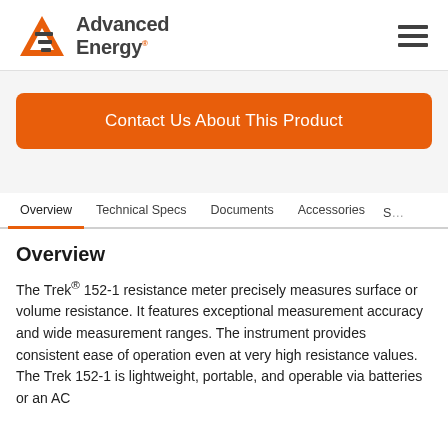[Figure (logo): Advanced Energy logo with orange triangle/A symbol and dark gray text]
Contact Us About This Product
Overview | Technical Specs | Documents | Accessories | S…
Overview
The Trek® 152-1 resistance meter precisely measures surface or volume resistance. It features exceptional measurement accuracy and wide measurement ranges. The instrument provides consistent ease of operation even at very high resistance values. The Trek 152-1 is lightweight, portable, and operable via batteries or an AC…